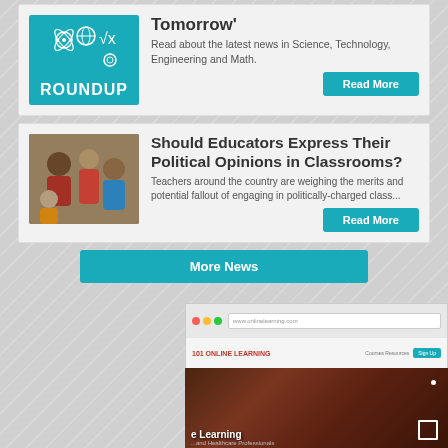[Figure (infographic): Teal ROUNDUP tile with science/tech icons and text 'Tomorrow' article card with Read More button]
Tomorrow'
Read about the latest news in Science, Technology, Engineering and Math.
[Figure (photo): Students sitting in a circle discussion group in a classroom]
Should Educators Express Their Political Opinions in Classrooms?
Teachers around the country are weighing the merits and potential fallout of engaging in politically-charged class...
More News
[Figure (screenshot): Screenshot of an online learning website with a dark blurred background and 'Learning' text overlay]